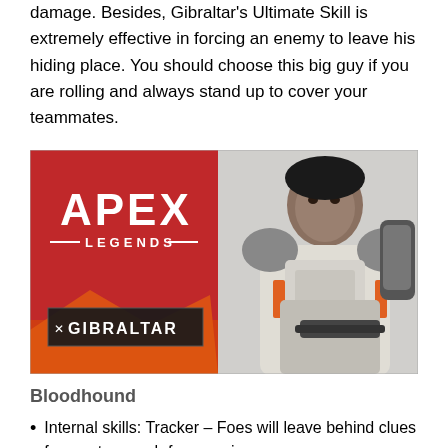damage. Besides, Gibraltar's Ultimate Skill is extremely effective in forcing an enemy to leave his hiding place. You should choose this big guy if you are rolling and always stand up to cover your teammates.
[Figure (illustration): Apex Legends game promotional image featuring the character Gibraltar. Left half has red background with 'APEX LEGENDS' logo and a dark nameplate reading 'GIBRALTAR'. Right half shows Gibraltar character in white and orange armor holding a weapon.]
Bloodhound
Internal skills: Tracker – Foes will leave behind clues for you to search for enemies.